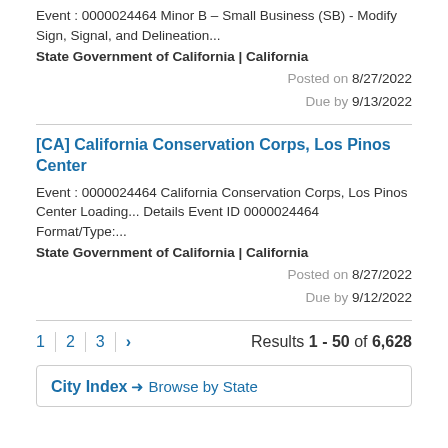Event : 0000024464 Minor B – Small Business (SB) - Modify Sign, Signal, and Delineation...
State Government of California | California
Posted on 8/27/2022
Due by 9/13/2022
[CA] California Conservation Corps, Los Pinos Center
Event : 0000024464 California Conservation Corps, Los Pinos Center Loading... Details Event ID 0000024464 Format/Type:...
State Government of California | California
Posted on 8/27/2022
Due by 9/12/2022
1 2 3 > Results 1 - 50 of 6,628
City Index → Browse by State